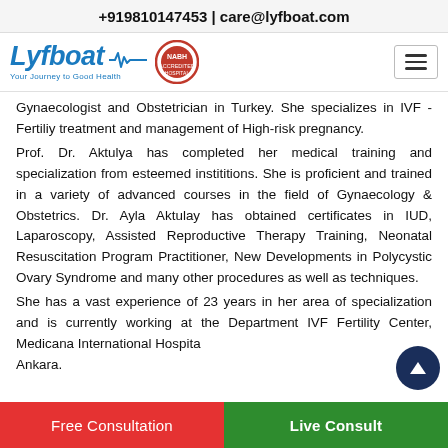+919810147453 | care@lyfboat.com
[Figure (logo): Lyfboat logo with tagline 'Your Journey to Good Health', a heartbeat wave, and a circular badge emblem. Navigation hamburger menu on the right.]
Gynaecologist and Obstetrician in Turkey. She specializes in IVF - Fertiliy treatment and management of High-risk pregnancy.
Prof. Dr. Aktulya has completed her medical training and specialization from esteemed instititions. She is proficient and trained in a variety of advanced courses in the field of Gynaecology & Obstetrics. Dr. Ayla Aktulay has obtained certificates in IUD, Laparoscopy, Assisted Reproductive Therapy Training, Neonatal Resuscitation Program Practitioner, New Developments in Polycystic Ovary Syndrome and many other procedures as well as techniques.
She has a vast experience of 23 years in her area of specialization and is currently working at the Department IVF Fertility Center, Medicana International Hospi... Ankara.